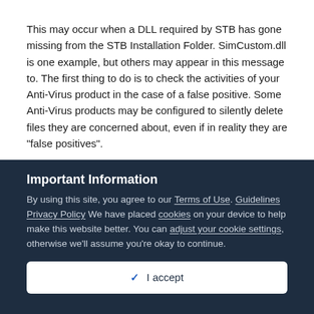This may occur when a DLL required by STB has gone missing from the STB Installation Folder.  SimCustom.dll is one example, but others may appear in this message to.  The first thing to do is to check the activities of your Anti-Virus product in the case of a false positive.  Some Anti-Virus products may be configured to silently delete files they are concerned about, even if in reality they are "false positives".
I have not detected any viruses or other similar problems in STB.  Like most other .net products, STB uses a technique called obfuscation and...
Important Information
By using this site, you agree to our Terms of Use. Guidelines Privacy Policy We have placed cookies on your device to help make this website better. You can adjust your cookie settings, otherwise we'll assume you're okay to continue.
✓  I accept